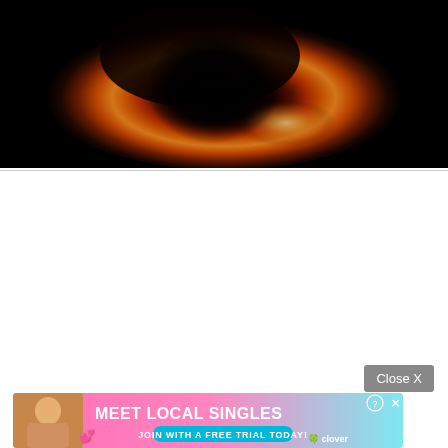[Figure (photo): Black hole image — glowing orange-red ring of plasma surrounding a dark central shadow, resembling the Sagittarius A* or M87* black hole photograph. The image shows a luminous accretion disk with brighter spot on the lower-right and a dark circular shadow in the center against a near-black background.]
[Figure (photo): Advertisement banner: 'MEET LOCAL SINGLES — JOIN WITH A FREE TRIAL TODAY!' with Clover app logo and a photo of a woman on the left side. Pink/blue gradient background with heart emojis.]